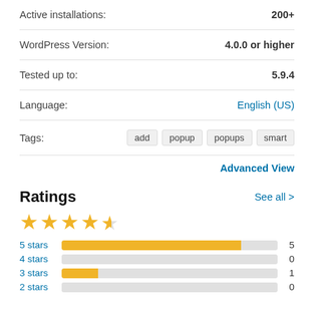| Field | Value |
| --- | --- |
| Active installations: | 200+ |
| WordPress Version: | 4.0.0 or higher |
| Tested up to: | 5.9.4 |
| Language: | English (US) |
| Tags: | add  popup  popups  smart |
Advanced View
Ratings
See all >
[Figure (other): 4.5 star rating shown with star icons]
[Figure (bar-chart): Ratings breakdown]